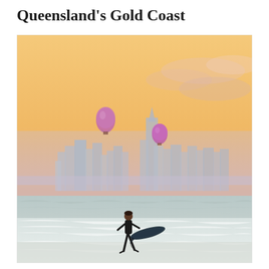Queensland's Gold Coast
[Figure (photo): Surfer walking along a beach with surfboard at dawn, with the Gold Coast city skyline in the misty background and two hot air balloons in a warm orange-pink sunrise sky]